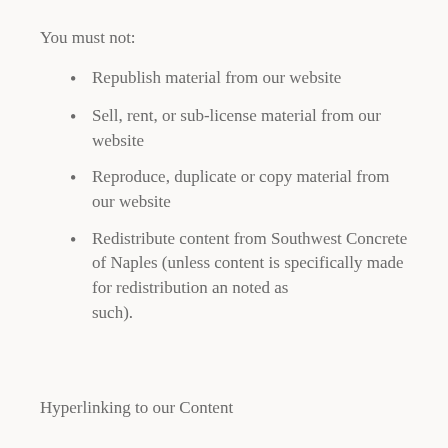You must not:
Republish material from our website
Sell, rent, or sub-license material from our website
Reproduce, duplicate or copy material from our website
Redistribute content from Southwest Concrete of Naples (unless content is specifically made for redistribution an noted as such).
Hyperlinking to our Content